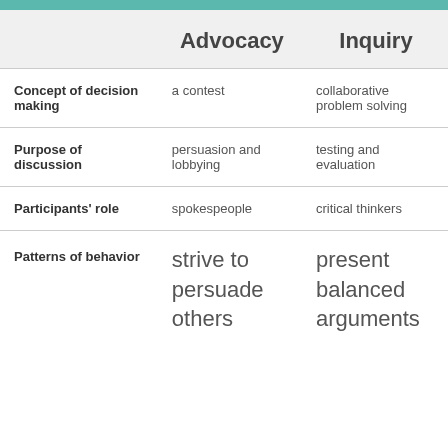|  | Advocacy | Inquiry |
| --- | --- | --- |
| Concept of decision making | a contest | collaborative problem solving |
| Purpose of discussion | persuasion and lobbying | testing and evaluation |
| Participants' role | spokespeople | critical thinkers |
| Patterns of behavior | strive to persuade others | present balanced arguments |